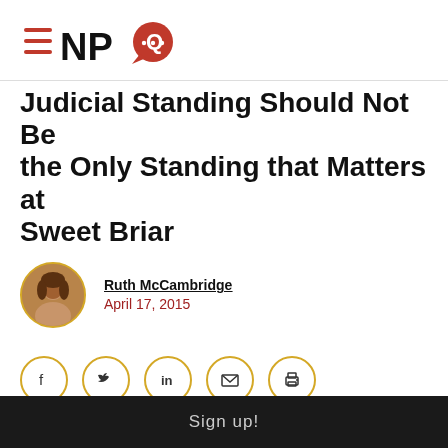[Figure (logo): NPQ logo with hamburger menu lines and red speech bubble]
Judicial Standing Should Not Be the Only Standing that Matters at Sweet Briar
Ruth McCambridge
April 17, 2015
[Figure (infographic): Social sharing buttons: Facebook, Twitter, LinkedIn, Email, Print]
Sign up!